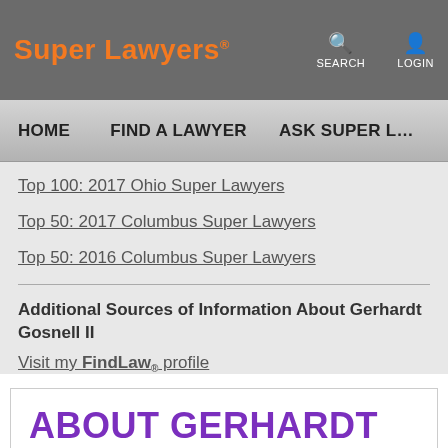Super Lawyers® — SEARCH  LOGIN
HOME  FIND A LAWYER  ASK SUPER L…
Top 100: 2017 Ohio Super Lawyers
Top 50: 2017 Columbus Super Lawyers
Top 50: 2016 Columbus Super Lawyers
Additional Sources of Information About Gerhardt Gosnell II
Visit my FindLaw® profile
ABOUT GERHARDT